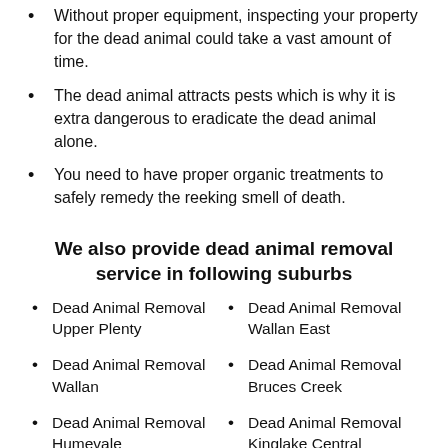Without proper equipment, inspecting your property for the dead animal could take a vast amount of time.
The dead animal attracts pests which is why it is extra dangerous to eradicate the dead animal alone.
You need to have proper organic treatments to safely remedy the reeking smell of death.
We also provide dead animal removal service in following suburbs
Dead Animal Removal Upper Plenty
Dead Animal Removal Wallan East
Dead Animal Removal Wallan
Dead Animal Removal Bruces Creek
Dead Animal Removal Humevale
Dead Animal Removal Kinglake Central